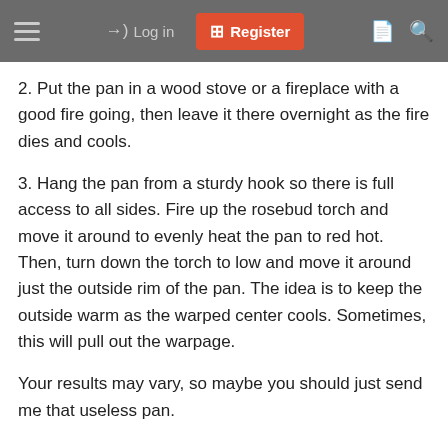Log in  Register
2. Put the pan in a wood stove or a fireplace with a good fire going, then leave it there overnight as the fire dies and cools.
3. Hang the pan from a sturdy hook so there is full access to all sides. Fire up the rosebud torch and move it around to evenly heat the pan to red hot. Then, turn down the torch to low and move it around just the outside rim of the pan. The idea is to keep the outside warm as the warped center cools. Sometimes, this will pull out the warpage.
Your results may vary, so maybe you should just send me that useless pan.